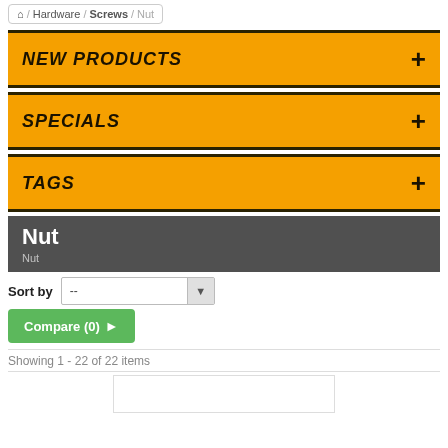Home / Hardware / Screws / Nut
NEW PRODUCTS
SPECIALS
TAGS
Nut
Nut
Sort by --
Compare (0)
Showing 1 - 22 of 22 items